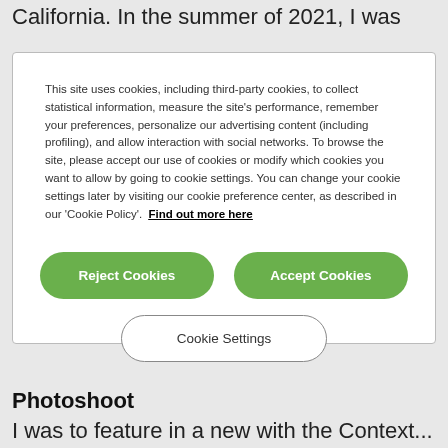California. In the summer of 2021, I was
This site uses cookies, including third-party cookies, to collect statistical information, measure the site's performance, remember your preferences, personalize our advertising content (including profiling), and allow interaction with social networks. To browse the site, please accept our use of cookies or modify which cookies you want to allow by going to cookie settings. You can change your cookie settings later by visiting our cookie preference center, as described in our 'Cookie Policy'.  Find out more here
[Figure (screenshot): Cookie consent modal with Reject Cookies and Accept Cookies green buttons, and a Cookie Settings outline button]
Photoshoot
I was to feature in a new with the Context...